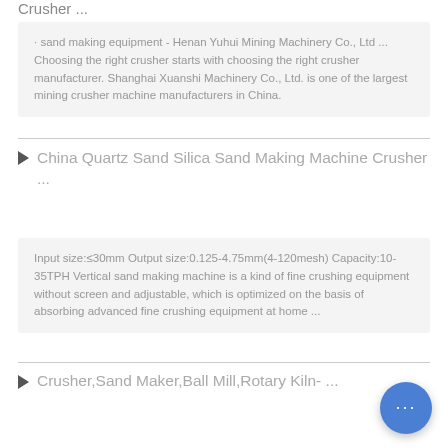Crusher ...
· sand making equipment - Henan Yuhui Mining Machinery Co., Ltd ... Choosing the right crusher starts with choosing the right crusher manufacturer. Shanghai Xuanshi Machinery Co., Ltd. is one of the largest mining crusher machine manufacturers in China.
▶  China Quartz Sand Silica Sand Making Machine Crusher ...
Input size:≤30mm Output size:0.125-4.75mm(4-120mesh) Capacity:10-35TPH Vertical sand making machine is a kind of fine crushing equipment without screen and adjustable, which is optimized on the basis of absorbing advanced fine crushing equipment at home ...
▶  Crusher,Sand Maker,Ball Mill,Rotary Kiln- ...